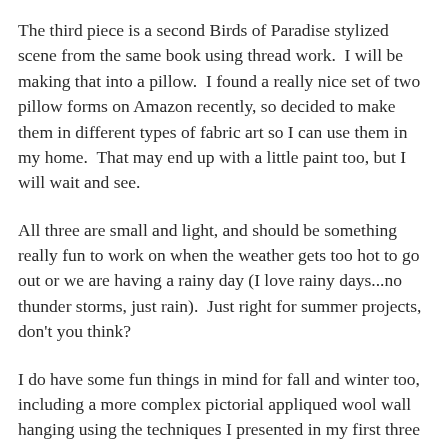The third piece is a second Birds of Paradise stylized scene from the same book using thread work.  I will be making that into a pillow.  I found a really nice set of two pillow forms on Amazon recently, so decided to make them in different types of fabric art so I can use them in my home.  That may end up with a little paint too, but I will wait and see.
All three are small and light, and should be something really fun to work on when the weather gets too hot to go out or we are having a rainy day (I love rainy days...no thunder storms, just rain).  Just right for summer projects, don't you think?
I do have some fun things in mind for fall and winter too, including a more complex pictorial appliqued wool wall hanging using the techniques I presented in my first three videos, and a scene for Halloween, among other things, but